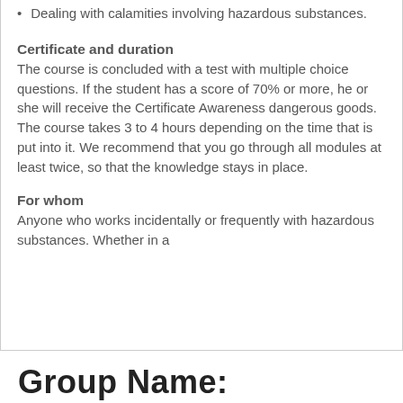Dealing with calamities involving hazardous substances.
Certificate and duration
The course is concluded with a test with multiple choice questions. If the student has a score of 70% or more, he or she will receive the Certificate Awareness dangerous goods. The course takes 3 to 4 hours depending on the time that is put into it. We recommend that you go through all modules at least twice, so that the knowledge stays in place.
For whom
Anyone who works incidentally or frequently with hazardous substances. Whether in a
Group Name: